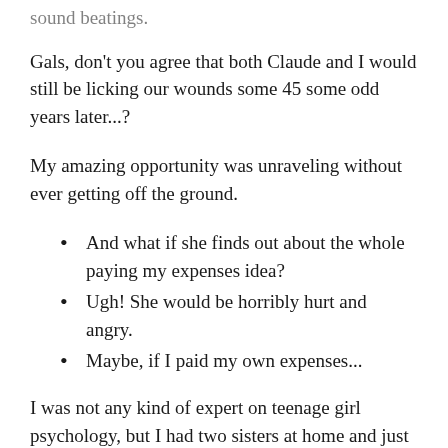sound beatings.
Gals, don't you agree that both Claude and I would still be licking our wounds some 45 some odd years later...?
My amazing opportunity was unraveling without ever getting off the ground.
And what if she finds out about the whole paying my expenses idea?
Ugh!  She would be horribly hurt and angry.
Maybe, if I paid my own expenses...
I was not any kind of expert on teenage girl psychology, but I had two sisters at home and just knew Donna would never be happy with any version of this plan.  My thinking continued,
Then she would probably would be still be